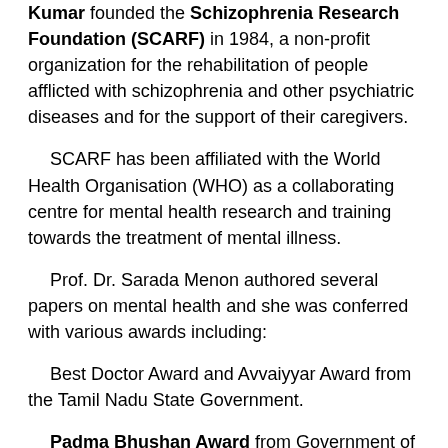Kumar founded the Schizophrenia Research Foundation (SCARF) in 1984, a non-profit organization for the rehabilitation of people afflicted with schizophrenia and other psychiatric diseases and for the support of their caregivers.
SCARF has been affiliated with the World Health Organisation (WHO) as a collaborating centre for mental health research and training towards the treatment of mental illness.
Prof. Dr. Sarada Menon authored several papers on mental health and she was conferred with various awards including:
Best Doctor Award and Avvaiyyar Award from the Tamil Nadu State Government.
Padma Bhushan Award from Government of India in 1992.
Mother Teresa Award in the year 2013...